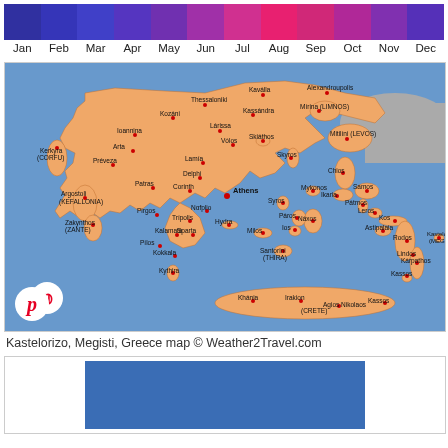[Figure (bar-chart): Monthly color bar (travel season indicator)]
[Figure (map): Map of Greece showing cities and islands including Athens, Thessaloniki, Corfu, Crete, Rhodes, Santorini, Mykonos, and Kastelorizo (Megisti). Map credit: Weather2Travel.com]
Kastelorizo, Megisti, Greece map © Weather2Travel.com
[Figure (photo): Blue rectangle image, partially visible at bottom of page]